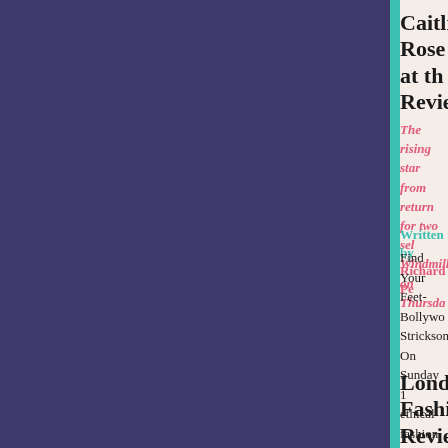Caitlin Rose at the Review
The rising star from return for two sel Windmill on Thursda
Written by Richard Pe
Find Your Feet-Bollywo Strickson. On Sunday 1 ethical fashion show a Haymarket. [...]
London Fashion Review: Osman (
Osman displays his bright colours loo totally ruins it by us Ann Hulme, Madi Antonia Parker, Alex
Written by Naomi Law
Illustration by Jenny Rob Jeong eons ago, order e crisp all-white palette one [...]
London Fashion